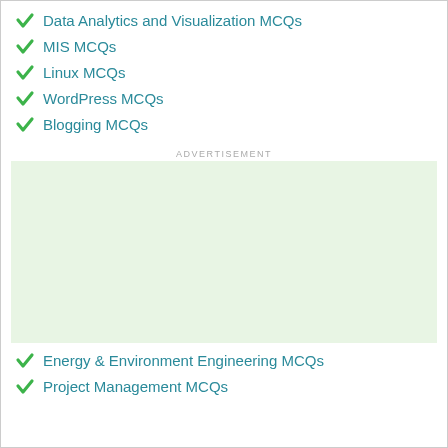Data Analytics and Visualization MCQs
MIS MCQs
Linux MCQs
WordPress MCQs
Blogging MCQs
ADVERTISEMENT
[Figure (other): Green advertisement placeholder box]
Energy & Environment Engineering MCQs
Project Management MCQs